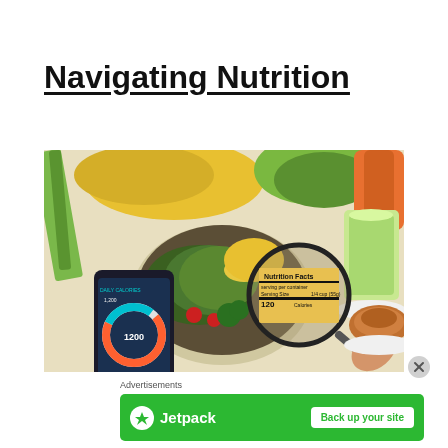Navigating Nutrition
[Figure (photo): Overhead view of colorful vegetables and salad bowl on a white table, with a smartphone showing a calorie tracking app and a hand holding a magnifying glass over nutrition facts label. A glass of green juice and a croissant are visible in the background.]
Advertisements
[Figure (infographic): Jetpack advertisement banner in green with Jetpack logo on left and 'Back up your site' button on the right.]